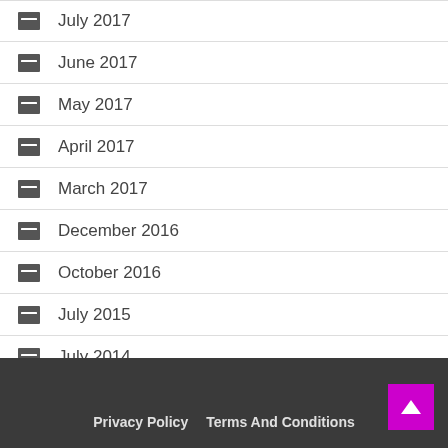July 2017
June 2017
May 2017
April 2017
March 2017
December 2016
October 2016
July 2015
July 2014
May 2013
Privacy Policy   Terms And Conditions